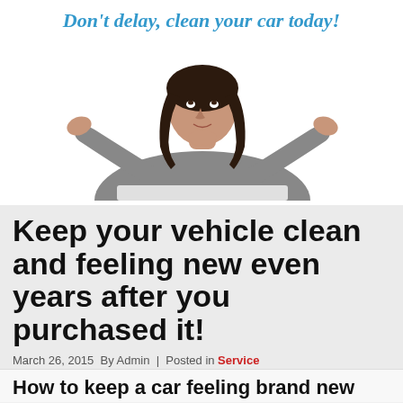Don't delay, clean your car today!
[Figure (photo): Woman relaxing with hands behind her head, looking upward, photographed from below against a white background]
Keep your vehicle clean and feeling new even years after you purchased it!
March 26, 2015  By Admin  |  Posted in Service
How to keep a car feeling brand new